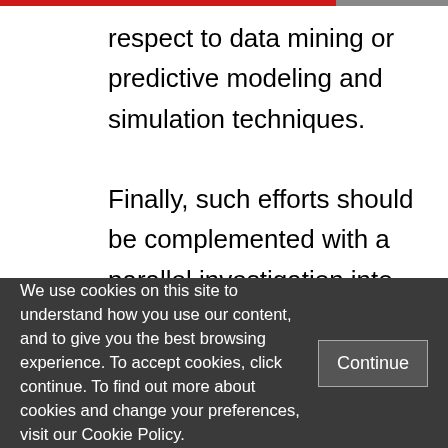respect to data mining or predictive modeling and simulation techniques.
Finally, such efforts should be complemented with a parallel investigation into the impact of digital technologies on human rights and the rule of law, including privacy, data protection, and cyber security. The complexities, limitations, and risks of such research need to be addressed through
We use cookies on this site to understand how you use our content, and to give you the best browsing experience. To accept cookies, click continue. To find out more about cookies and change your preferences, visit our Cookie Policy.